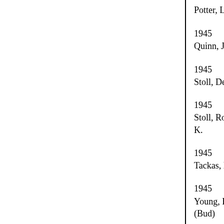Potter, Levere
1945
Quinn, J.
1945
Stoll, Derlin
1945
Stoll, Rowland K.
1945
Tackas, Louie
1945
Young, R.E. (Bud)
1946
Brugman, Jack S.